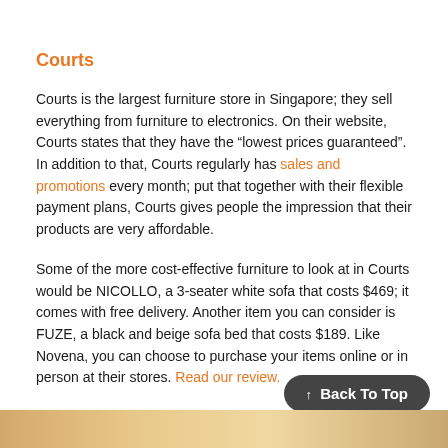Courts
Courts is the largest furniture store in Singapore; they sell everything from furniture to electronics. On their website, Courts states that they have the “lowest prices guaranteed”. In addition to that, Courts regularly has sales and promotions every month; put that together with their flexible payment plans, Courts gives people the impression that their products are very affordable.
Some of the more cost-effective furniture to look at in Courts would be NICOLLO, a 3-seater white sofa that costs $469; it comes with free delivery. Another item you can consider is FUZE, a black and beige sofa bed that costs $189. Like Novena, you can choose to purchase your items online or in person at their stores. Read our review.